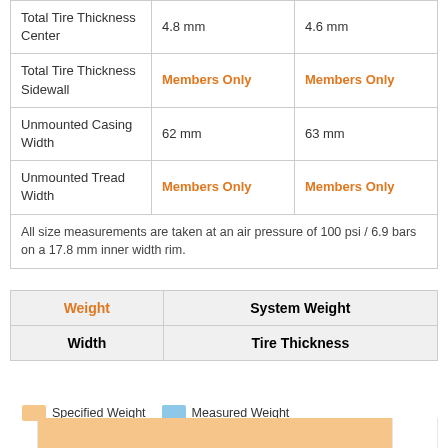|  | Col1 | Col2 |
| --- | --- | --- |
| Total Tire Thickness Center | 4.8 mm | 4.6 mm |
| Total Tire Thickness Sidewall | Members Only | Members Only |
| Unmounted Casing Width | 62 mm | 63 mm |
| Unmounted Tread Width | Members Only | Members Only |
| All size measurements are taken at an air pressure of 100 psi / 6.9 bars on a 17.8 mm inner width rim. |  |  |
| Weight | System Weight |
| --- | --- |
| Width | Tire Thickness |
[Figure (bar-chart): Bar chart partially visible showing orange bar (Specified Weight) at bottom of page]